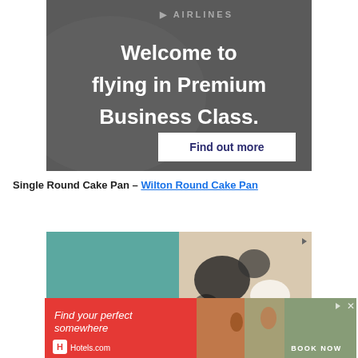[Figure (screenshot): Airlines advertisement banner with dark gray background showing 'Welcome to flying in Premium Business Class.' text and a 'Find out more' button]
Single Round Cake Pan – Wilton Round Cake Pan
[Figure (screenshot): Ollie pet food advertisement showing teal background with 'Ollie' text and a dalmatian dog on the right side]
[Figure (screenshot): Hotels.com advertisement with red background showing 'Find your perfect somewhere' text, Hotels.com logo, and 'BOOK NOW' text with beach scene imagery]